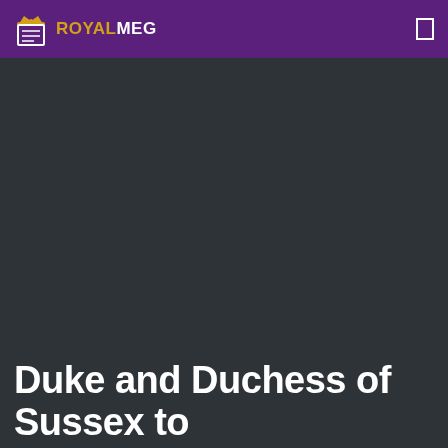ROYALMEG
[Figure (photo): Dark background area below the header, appearing to be a hero image placeholder in dark charcoal/slate color]
Duke and Duchess of Sussex to